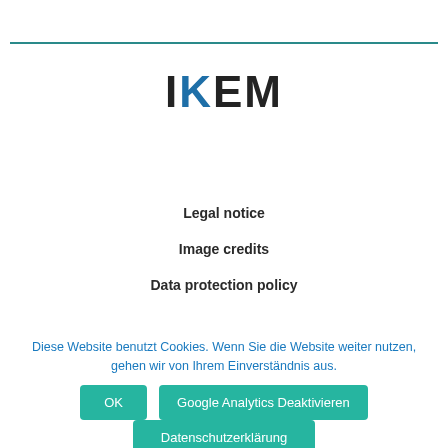[Figure (logo): IKEM logo with stylized K in blue and remaining letters in dark/black]
Legal notice
Image credits
Data protection policy
Diese Website benutzt Cookies. Wenn Sie die Website weiter nutzen, gehen wir von Ihrem Einverständnis aus.
OK
Google Analytics Deaktivieren
Datenschutzerklärung